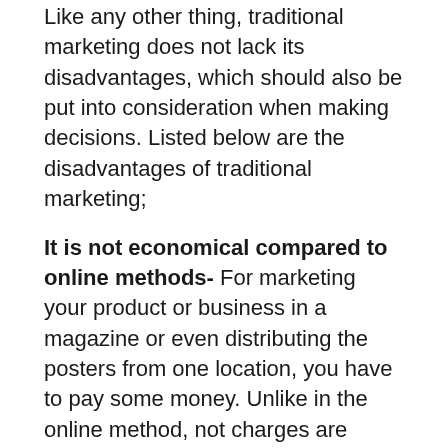Like any other thing, traditional marketing does not lack its disadvantages, which should also be put into consideration when making decisions. Listed below are the disadvantages of traditional marketing;
It is not economical compared to online methods- For marketing your product or business in a magazine or even distributing the posters from one location, you have to pay some money. Unlike in the online method, not charges are required to update the website.
Not suitable for customized marketing- Specific clients cannot be targeted when it comes to traditional marketing since only a particular market can be targeted, but in the online method, you can look at what the client is looking for and suggest some options suitable for him or her.
Provides less content relating to the product- It is difficult to bring out prices that are complex and also